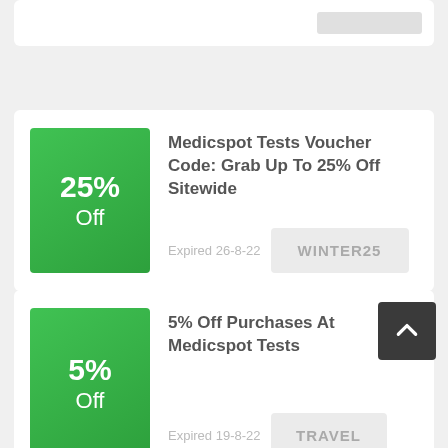[Figure (screenshot): Top partial card showing a gray box partially visible at top right]
[Figure (infographic): Coupon card: 25% Off green badge, title 'Medicspot Tests Voucher Code: Grab Up To 25% Off Sitewide', expired 26-8-22, code WINTER25]
Medicspot Tests Voucher Code: Grab Up To 25% Off Sitewide
Expired 26-8-22
WINTER25
[Figure (infographic): Coupon card: 5% Off green badge, title '5% Off Purchases At Medicspot Tests', expired 19-8-22, code TRAVEL]
5% Off Purchases At Medicspot Tests
Expired 19-8-22
TRAVEL